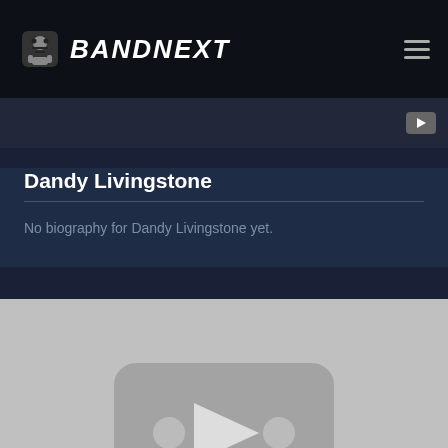BANDNEXT
[Figure (screenshot): Video thumbnail placeholder with grey background and YouTube-style play button icon]
Dandy Livingstone
No biography for Dandy Livingstone yet.
[Figure (screenshot): YouTube video embed placeholder showing grey YouTube logo with play button in centre]